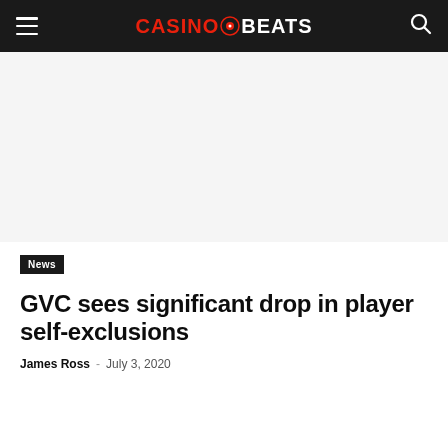CASINOBEATS
[Figure (other): Advertisement / blank space area below navigation]
News
GVC sees significant drop in player self-exclusions
James Ross - July 3, 2020